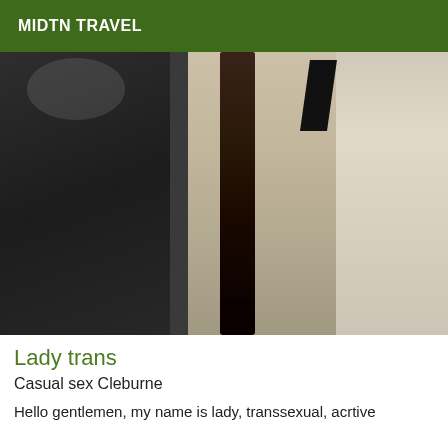MIDTN TRAVEL
[Figure (photo): Photo showing legs in black stockings and high heels near luggage and a doorway]
Lady trans
Casual sex Cleburne
Hello gentlemen, my name is lady, transsexual, acrtive